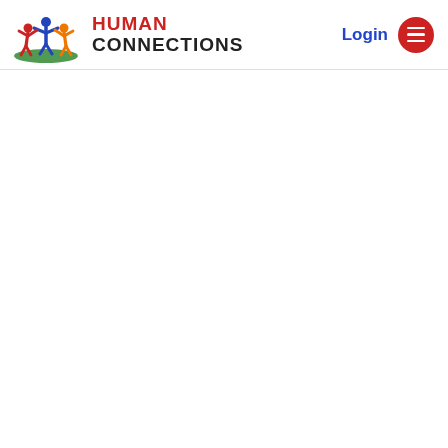[Figure (logo): Human Connections logo: colorful figures (red, orange, yellow, blue) with arms raised under a green arc, beside bold text 'HUMAN CONNECTIONS' (HUMAN in red, CONNECTIONS in dark/black)]
Login
[Figure (other): Red circular hamburger menu button with three white horizontal lines]